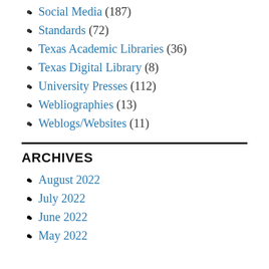Social Media (187)
Standards (72)
Texas Academic Libraries (36)
Texas Digital Library (8)
University Presses (112)
Webliographies (13)
Weblogs/Websites (11)
ARCHIVES
August 2022
July 2022
June 2022
May 2022